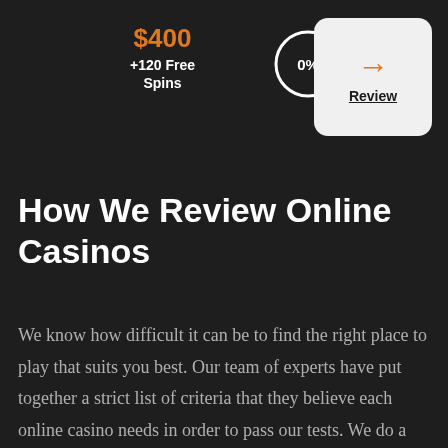$400 +120 Free Spins
[Figure (infographic): A circular badge showing 0% in white text on dark background with white circle border]
[Figure (infographic): A rounded rectangle button with an orange right-arrow icon and 'Review' label underneath]
How We Review Online Casinos
We know how difficult it can be to find the right place to play that suits you best. Our team of experts have put together a strict list of criteria that they believe each online casino needs in order to pass our tests. We do a deep dive into every single online casino to